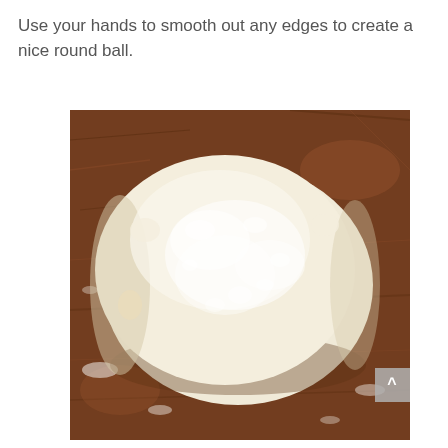Use your hands to smooth out any edges to create a nice round ball.
[Figure (photo): A round ball of dough dusted with flour sitting on a wooden cutting board that also has flour scattered on it. The dough is smooth and cream/white colored, viewed from above.]